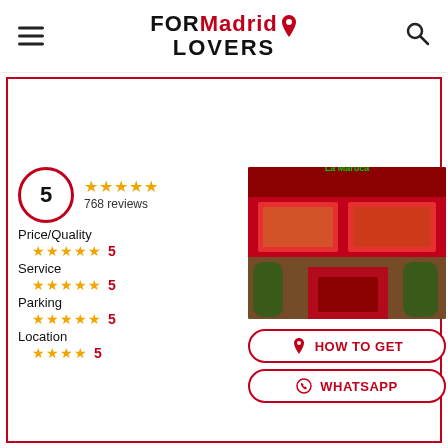FORMadrid LOVERS
[Figure (photo): Restaurant storefront with red signage, food photos displayed, and plants in foreground]
5  ★★★★★  768 reviews
Price/Quality ★★★★★ 5
Service ★★★★★ 5
Parking ★★★★★ 5
Location ★★★★★ 5
HOW TO GET
WHATSAPP